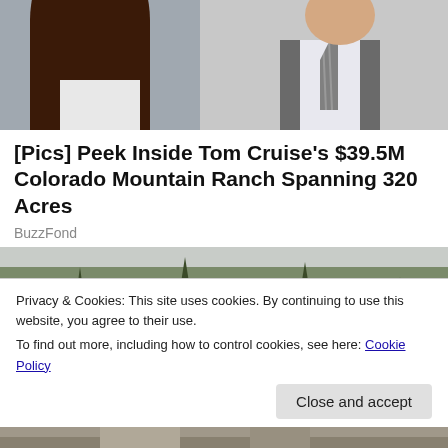[Figure (photo): Cropped photo of two people, partially visible — woman with long brown hair and a man in a grey vest and striped tie, white shirt.]
[Pics] Peek Inside Tom Cruise's $39.5M Colorado Mountain Ranch Spanning 320 Acres
BuzzFond
[Figure (photo): Photo of tall pine trees and bare trees in winter/early spring against a grey sky, likely Colorado mountain scenery.]
Privacy & Cookies: This site uses cookies. By continuing to use this website, you agree to their use.
To find out more, including how to control cookies, see here: Cookie Policy
[Figure (photo): Partial bottom strip showing a snowy or wintry outdoor scene.]